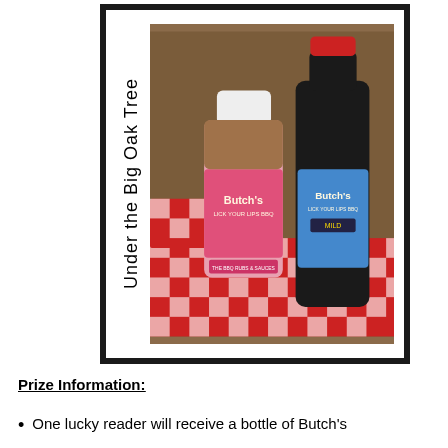[Figure (photo): A framed photo showing two Butch's BBQ products on a red and white checkered cloth: a pink shaker/jar of Butch's Lick Your Lips BBQ rub and a dark glass bottle of Butch's Lick Your Lips BBQ sauce (Mild). The frame has 'Under the Big Oak Tree' written vertically on the left side.]
Prize Information:
One lucky reader will receive a bottle of Butch's